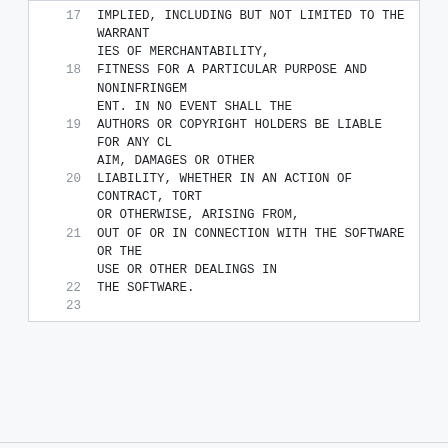17   IMPLIED, INCLUDING BUT NOT LIMITED TO THE WARRANTIES OF MERCHANTABILITY,
18   FITNESS FOR A PARTICULAR PURPOSE AND NONINFRINGEMENT. IN NO EVENT SHALL THE
19   AUTHORS OR COPYRIGHT HOLDERS BE LIABLE FOR ANY CLAIM, DAMAGES OR OTHER
20   LIABILITY, WHETHER IN AN ACTION OF CONTRACT, TORT OR OTHERWISE, ARISING FROM,
21   OUT OF OR IN CONNECTION WITH THE SOFTWARE OR THE USE OR OTHER DEALINGS IN
22   THE SOFTWARE.
23
Powered by Gitea Version: 1.16.8 Page: 121ms Template: 3ms | English | Licenses | API | Website | Go1.18.2